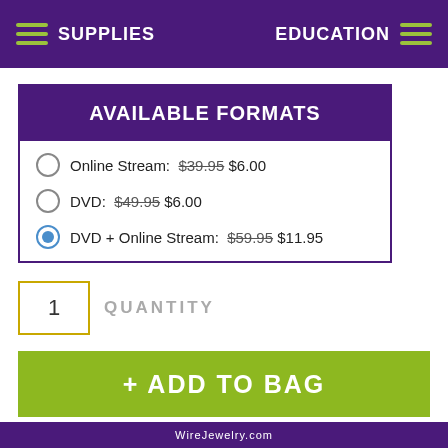SUPPLIES   EDUCATION
AVAILABLE FORMATS
Online Stream: $39.95 $6.00
DVD: $49.95 $6.00
DVD + Online Stream: $59.95 $11.95
1  QUANTITY
+ ADD TO BAG
♥ ADD TO WISH LIST
✉ E-MAIL TO A FRIEND
WireJewelry.com